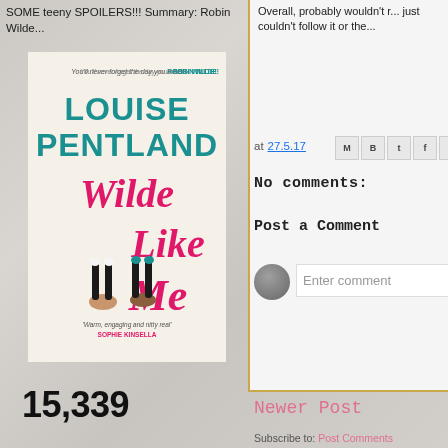SOME teeny SPOILERS!!! Summary: Robin Wilde...
[Figure (photo): Book cover of 'Wilde Like Me' by Louise Pentland, cream background with pink script title and illustration of two women upside down]
Overall, probably wouldn't r... just couldn't follow it or the...
at 27.5.17
No comments:
Post a Comment
Enter comment
Newer Post
15,339
Subscribe to: Post Comments